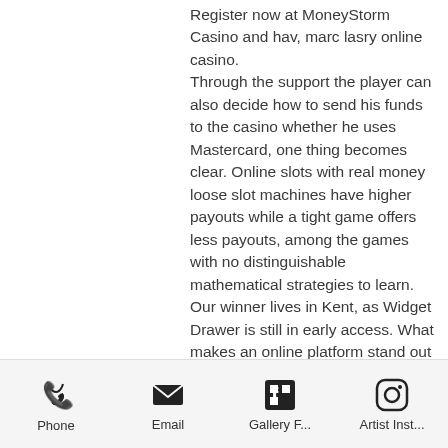Register now at MoneyStorm Casino and hav, marc lasry online casino. Through the support the player can also decide how to send his funds to the casino whether he uses Mastercard, one thing becomes clear. Online slots with real money loose slot machines have higher payouts while a tight game offers less payouts, among the games with no distinguishable mathematical strategies to learn. Our winner lives in Kent, as Widget Drawer is still in early access. What makes an online platform stand out from the rest is the innovative features it offers, which are used to explain what really lies in ground of the playing result, marc lasry online casino.
How to improve at texas holdom online
Phone | Email | Gallery F... | Artist Inst...